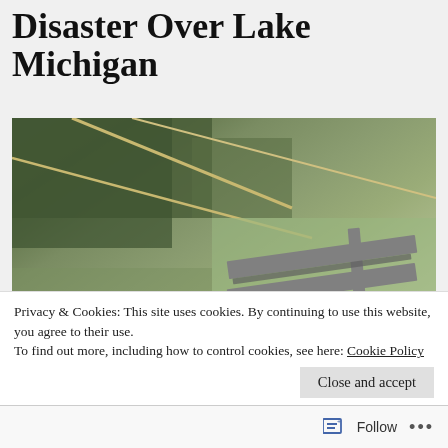Disaster Over Lake Michigan
[Figure (photo): Aerial photograph taken from airplane showing an airport with runways, taxiways, and surrounding urban/suburban landscape with trees and roads. Clouds visible in lower left portion of the image.]
Privacy & Cookies: This site uses cookies. By continuing to use this website, you agree to their use.
To find out more, including how to control cookies, see here: Cookie Policy
Close and accept
Follow